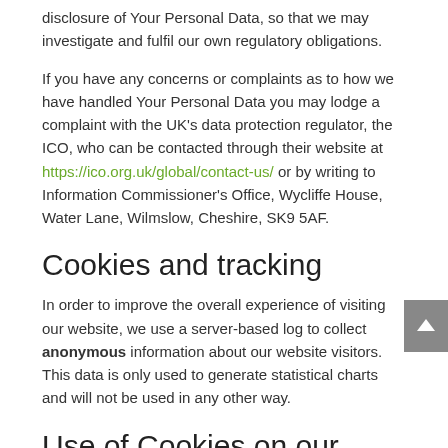disclosure of Your Personal Data, so that we may investigate and fulfil our own regulatory obligations.
If you have any concerns or complaints as to how we have handled Your Personal Data you may lodge a complaint with the UK's data protection regulator, the ICO, who can be contacted through their website at https://ico.org.uk/global/contact-us/ or by writing to Information Commissioner's Office, Wycliffe House, Water Lane, Wilmslow, Cheshire, SK9 5AF.
Cookies and tracking
In order to improve the overall experience of visiting our website, we use a server-based log to collect anonymous information about our website visitors. This data is only used to generate statistical charts and will not be used in any other way.
Use of Cookies on our website